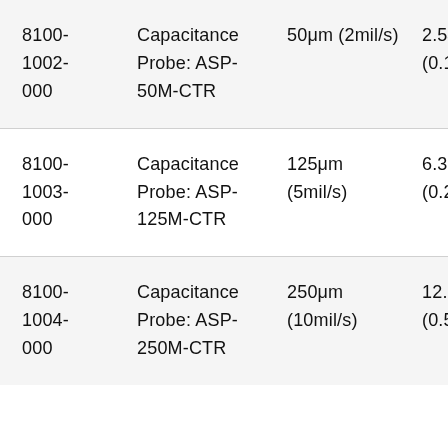| 8100-1002-000 | Capacitance Probe: ASP-50M-CTR | 50μm (2mil/s) | 2.54μm (0.1mil/s) |
| 8100-1003-000 | Capacitance Probe: ASP-125M-CTR | 125μm (5mil/s) | 6.35μm (0.25mil/s) |
| 8100-1004-000 | Capacitance Probe: ASP-250M-CTR | 250μm (10mil/s) | 12.7μm (0.5mil/s) |